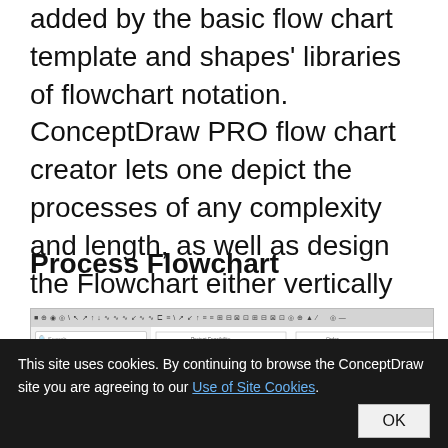added by the basic flow chart template and shapes' libraries of flowchart notation. ConceptDraw PRO flow chart creator lets one depict the processes of any complexity and length, as well as design the Flowchart either vertically or horizontally.
Process Flowchart
[Figure (screenshot): Screenshot of ConceptDraw PRO software showing a flowchart editor with a sidebar panel on the left containing shape libraries (Cross-functional flows, Swimlanes vertical, Swimlanes horizontal) and a canvas area on the right displaying process flowchart diagrams with teal/blue oval and rectangular shapes connected by arrows.]
This site uses cookies. By continuing to browse the ConceptDraw site you are agreeing to our Use of Site Cookies.